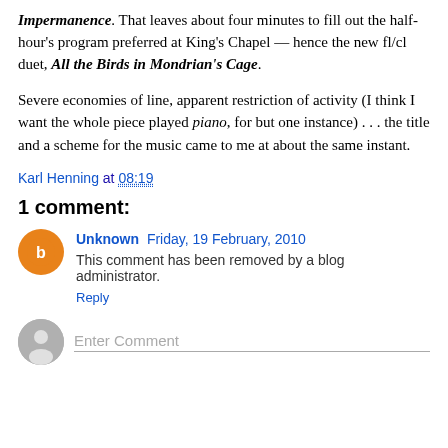Impermanence. That leaves about four minutes to fill out the half-hour's program preferred at King's Chapel — hence the new fl/cl duet, All the Birds in Mondrian's Cage.
Severe economies of line, apparent restriction of activity (I think I want the whole piece played piano, for but one instance) . . . the title and a scheme for the music came to me at about the same instant.
Karl Henning at 08:19
1 comment:
Unknown Friday, 19 February, 2010
This comment has been removed by a blog administrator.
Reply
Enter Comment